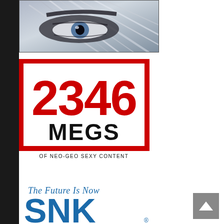[Figure (photo): Close-up black and white photo of a character's eye area with silver/white hair, intense gaze]
[Figure (logo): Red-bordered square containing '2346' in large red numerals, 'MEGS' in large black bold text, and 'OF NEO-GEO SEXY CONTENT' in small black text below the box]
[Figure (logo): SNK logo with tagline 'The Future Is Now' in blue italic text above large bold blue 'SNK' lettering with registered trademark symbol]